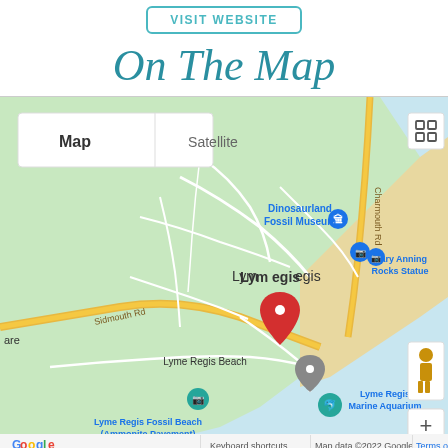VISIT WEBSITE
On The Map
[Figure (map): Google Map showing Lyme Regis area with landmarks: Dinosaurland Fossil Museum, Mary Anning Rocks Statue, Lyme Regis Beach, Lyme Regis Marine Aquarium, Lyme Regis Fossil Beach (Ammonite Pavement). Red pin marker in town center. Map/Satellite toggle, zoom controls, Street View figure icon visible. Shows roads including Sidmouth Rd and Charmouth Rd. Google logo and map data credit at bottom.]